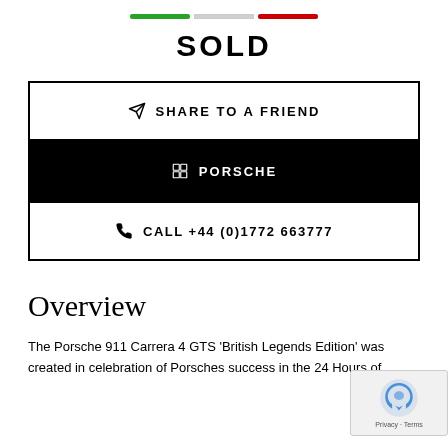[Figure (other): Three horizontal colored bars (green, white/gray, red) as a decorative divider]
SOLD
SHARE TO A FRIEND
PORSCHE
CALL +44 (0)1772 663777
Overview
The Porsche 911 Carrera 4 GTS 'British Legends Edition' was created in celebration of Porsches success in the 24 Hours of